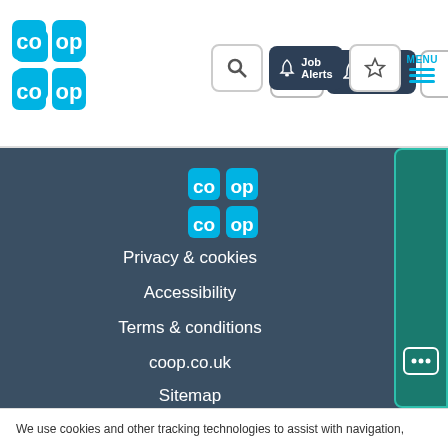[Figure (logo): Co-op logo in header - blue grid logo with co and op letters]
[Figure (screenshot): Header navigation bar with search button, Job Alerts button (dark background with bell icon), save/bookmark button, and MENU button with hamburger lines]
[Figure (logo): Co-op logo in footer area - blue grid logo]
Privacy & cookies
Accessibility
Terms & conditions
coop.co.uk
Sitemap
[Figure (other): Candidate FEEDBACK tab on right side - teal/green rounded rectangle with vertical text reading Candidate FEEDBACK and a speech bubble icon]
We use cookies and other tracking technologies to assist with navigation,